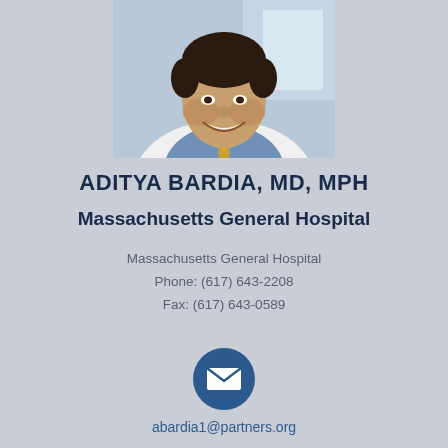[Figure (photo): Professional headshot photo of Aditya Bardia, MD, MPH, smiling, wearing a white coat and blue shirt with a gold tie]
ADITYA BARDIA, MD, MPH
Massachusetts General Hospital
Massachusetts General Hospital
Phone: (617) 643-2208
Fax: (617) 643-0589
[Figure (illustration): Blue circular email icon button]
abardia1@partners.org